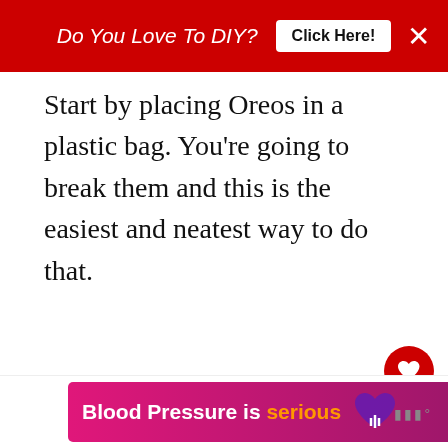Do You Love To DIY?  Click Here!
Start by placing Oreos in a plastic bag. You're going to break them and this is the easiest and neatest way to do that.
[Figure (screenshot): What's Next thumbnail showing Cookie Sheet Makeover article]
[Figure (screenshot): Blood Pressure is serious advertisement banner with purple heart logo]